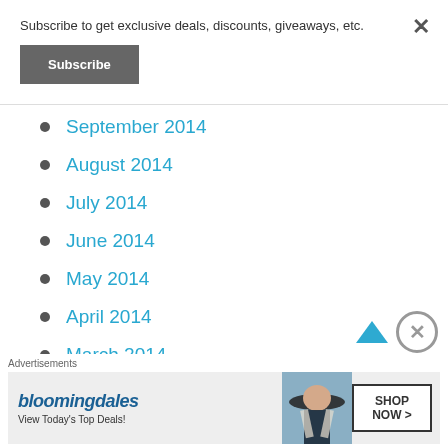Subscribe to get exclusive deals, discounts, giveaways, etc.
Subscribe
September 2014
August 2014
July 2014
June 2014
May 2014
April 2014
March 2014
February 2014
Advertisements
[Figure (other): Bloomingdales advertisement banner: 'bloomingdales – View Today's Top Deals!' with a woman wearing a wide-brim hat and a 'SHOP NOW >' button]